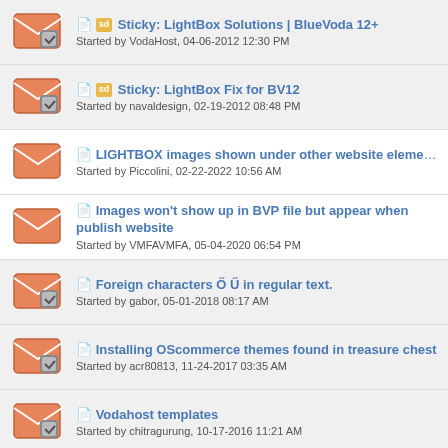Sticky: LightBox Solutions | BlueVoda 12+
Started by VodaHost, 04-06-2012 12:30 PM
Sticky: LightBox Fix for BV12
Started by navaldesign, 02-19-2012 08:48 PM
LIGHTBOX images shown under other website elements
Started by Piccolini, 02-22-2022 10:56 AM
Images won't show up in BVP file but appear when publish website
Started by VMFAVMFA, 05-04-2020 06:54 PM
Foreign characters Ő Ű in regular text.
Started by gabor, 05-01-2018 08:17 AM
Installing OScommerce themes found in treasure chest
Started by acr80813, 11-24-2017 03:35 AM
Vodahost templates
Started by chitragurung, 10-17-2016 11:21 AM
Lightbox caption position
Started by Granite Engraver, 04-06-2015 03:48 PM
Using EPS files
Started by Manpito, 03-30-2015 09:57 PM